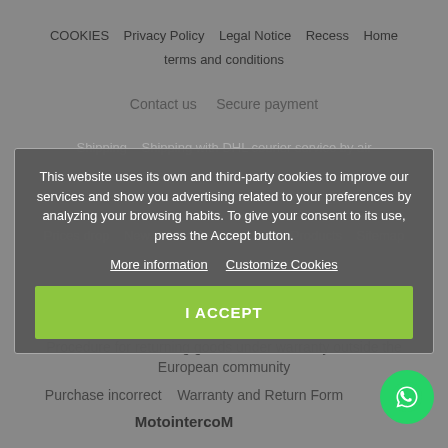COOKIES   Privacy Policy   Legal Notice   Recess   Home
terms and conditions
Contact us   Secure payment
Shipping   Shipping with DHL courier service by air
This website uses its own and third-party cookies to improve our services and show you advertising related to your preferences by analyzing your browsing habits. To give your consent to its use, press the Accept button.
More information
Customize Cookies
I ACCEPT
Prices drop   New products   Promotional Products   Sitemap
warranty   Return
Procedure for returning goods under warranty outside the European community
Purchase incorrect   Warranty and Return Form
MotointercoM